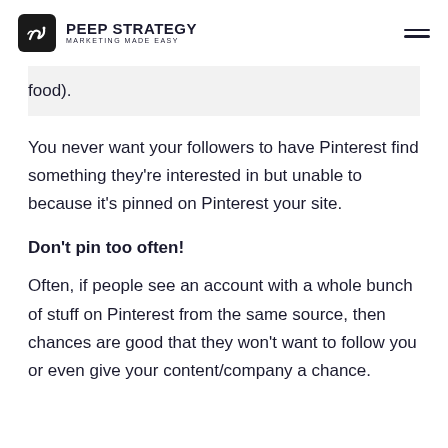PEEP STRATEGY MARKETING MADE EASY
food).
You never want your followers to have Pinterest find something they're interested in but unable to because it's pinned on Pinterest your site.
Don't pin too often!
Often, if people see an account with a whole bunch of stuff on Pinterest from the same source, then chances are good that they won't want to follow you or even give your content/company a chance.